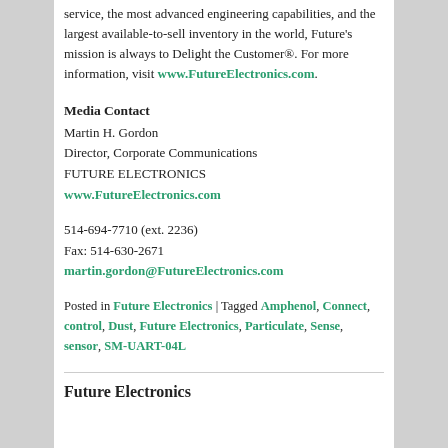service, the most advanced engineering capabilities, and the largest available-to-sell inventory in the world, Future's mission is always to Delight the Customer®. For more information, visit www.FutureElectronics.com.
Media Contact
Martin H. Gordon
Director, Corporate Communications
FUTURE ELECTRONICS
www.FutureElectronics.com
514-694-7710 (ext. 2236)
Fax: 514-630-2671
martin.gordon@FutureElectronics.com
Posted in Future Electronics | Tagged Amphenol, Connect, control, Dust, Future Electronics, Particulate, Sense, sensor, SM-UART-04L
Future Electronics